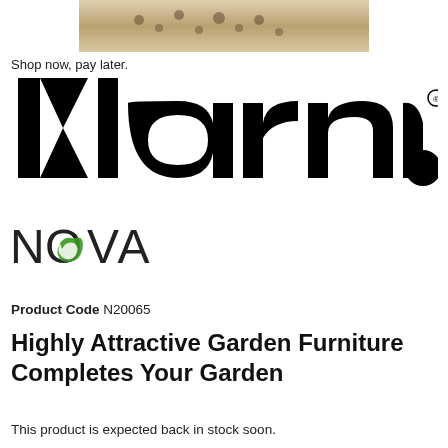[Figure (photo): Partial image of a decorative garden furniture piece with ornate pattern, shown at top of page]
Shop now, pay later.
[Figure (logo): Klarna logo in large black bold text with registered trademark symbol]
[Figure (logo): NOVA logo with green swirl accent on the letter O]
Product Code N20065
Highly Attractive Garden Furniture Completes Your Garden
This product is expected back in stock soon.